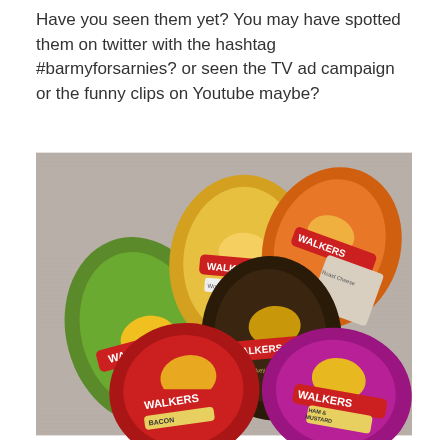Have you seen them yet? You may have spotted them on twitter with the hashtag #barmyforsarnies? or seen the TV ad campaign or the funny clips on Youtube maybe?
[Figure (photo): A photograph of six Walkers crisps packets arranged on a wooden surface. The packets include green (Walkers), yellow (Worcester Sauce), orange (Walkers), dark brown (Walkers), red (Bacon), and pink/magenta (Ham & Mustard) flavours.]